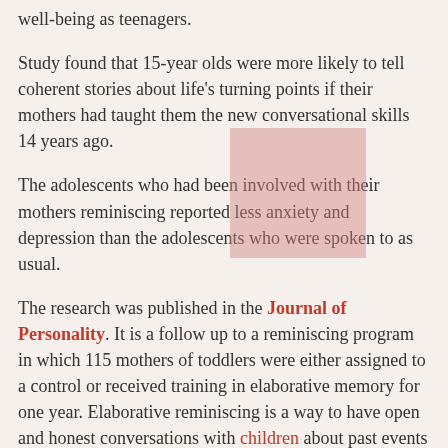well-being as teenagers.
Study found that 15-year olds were more likely to tell coherent stories about life's turning points if their mothers had taught them the new conversational skills 14 years ago.
The adolescents who had been involved with their mothers reminiscing reported less anxiety and depression than the adolescents who were spoken to as usual.
The research was published in the Journal of Personality. It is a follow up to a reminiscing program in which 115 mothers of toddlers were either assigned to a control or received training in elaborative memory for one year. Elaborative reminiscing is a way to have open and honest conversations with children about past events such as feeding ducks in the park.
Professor Elaine Reese of the Department of Psychology is the project leader. She says that